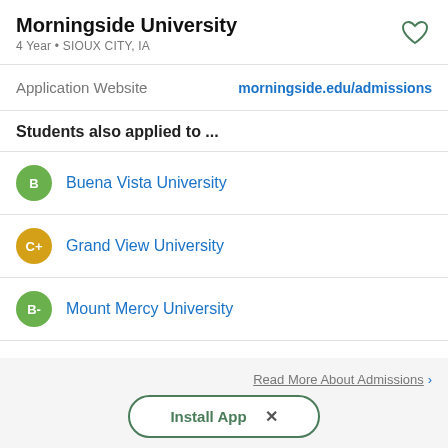Morningside University
4 Year • SIOUX CITY, IA
Application Website    morningside.edu/admissions
Students also applied to ...
B  Buena Vista University
C+  Grand View University
B-  Mount Mercy University
More ▾
Read More About Admissions >
Install App  ×